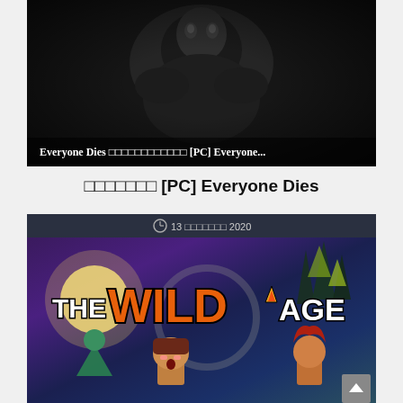[Figure (screenshot): Dark monochrome screenshot of a game or horror image with shadowy figures, with a caption overlay at the bottom]
Everyone Dies □□□□□□□□□□□□ [PC] Everyone...
□□□□□□□ [PC] Everyone Dies
[Figure (screenshot): The Wild Age game promotional image with colorful low-poly characters and orange/white logo, with date header '⊙ 13 □□□□□□□ 2020']